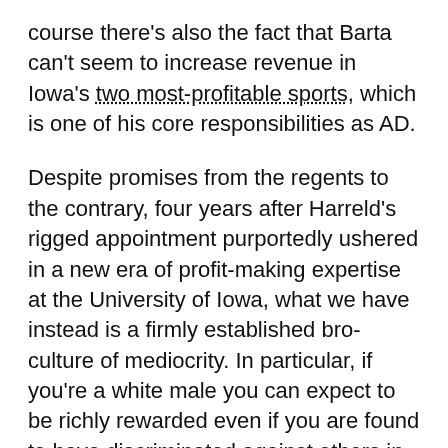course there's also the fact that Barta can't seem to increase revenue in Iowa's two most-profitable sports, which is one of his core responsibilities as AD.
Despite promises from the regents to the contrary, four years after Harreld's rigged appointment purportedly ushered in a new era of profit-making expertise at the University of Iowa, what we have instead is a firmly established bro-culture of mediocrity. In particular, if you're a white male you can expect to be richly rewarded even if you are found to have discriminated against others in a court of law. But I digress….
With classes at UI set to start next Monday, I am confident that no one expected last week's surprise